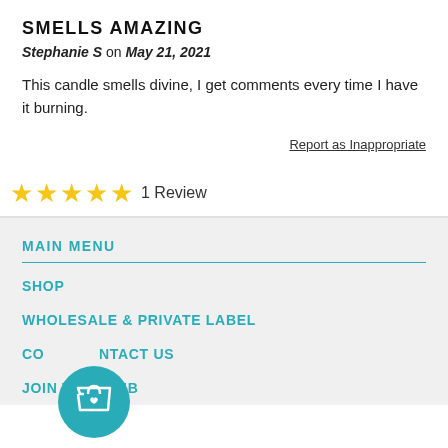SMELLS AMAZING
Stephanie S on May 21, 2021
This candle smells divine, I get comments every time I have it burning.
Report as Inappropriate
★★★★★ 1 Review
MAIN MENU
SHOP
WHOLESALE & PRIVATE LABEL
CONTACT US
JOIN THE CLUB
[Figure (illustration): Teal circular cart/bag icon button (floating action button) with a shopping bag and heart symbol]